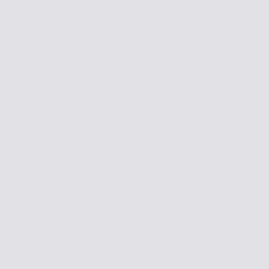MEL08/5 Sydney Rocks booklet & SunStamp m
MEL08/6 Sydney Rocks booklet & SunStamp m
APTA Stamp, Coin & Collectables Fair, Melbour
Melbourne Luna Park $5.50 booklets & AAT Pol
MEL08/5 Luna Park booklet & AAT m/s NON p
MEL08/6 Luna Park booklet & AAT m/s Philatel
APTA/Stampex Stamp, Coin & Collectables Fair
Megafauna $5.50 booklets & $4.40 Megafauna m
ADEL08/1 Megafauna booklet & Megafauna m/s
ADEL08/2 Megafauna booklet & Megafauna m/s